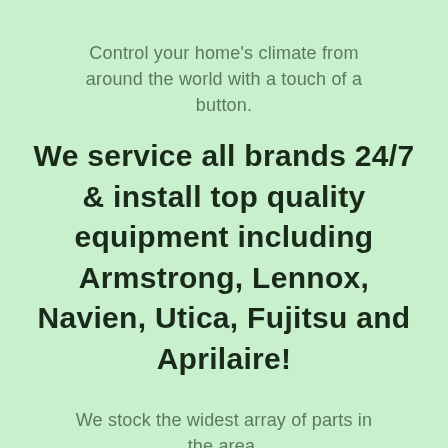Control your home's climate from around the world with a touch of a button.
We service all brands 24/7 & install top quality equipment including Armstrong, Lennox, Navien, Utica, Fujitsu and Aprilaire!
We stock the widest array of parts in the area.